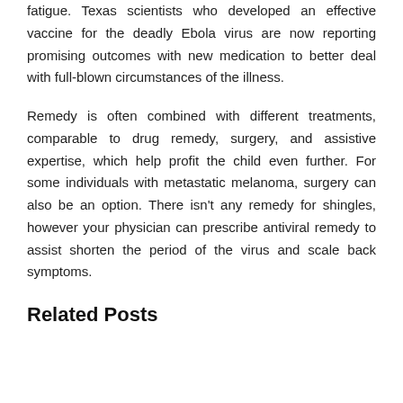fatigue. Texas scientists who developed an effective vaccine for the deadly Ebola virus are now reporting promising outcomes with new medication to better deal with full-blown circumstances of the illness.
Remedy is often combined with different treatments, comparable to drug remedy, surgery, and assistive expertise, which help profit the child even further. For some individuals with metastatic melanoma, surgery can also be an option. There isn't any remedy for shingles, however your physician can prescribe antiviral remedy to assist shorten the period of the virus and scale back symptoms.
Related Posts